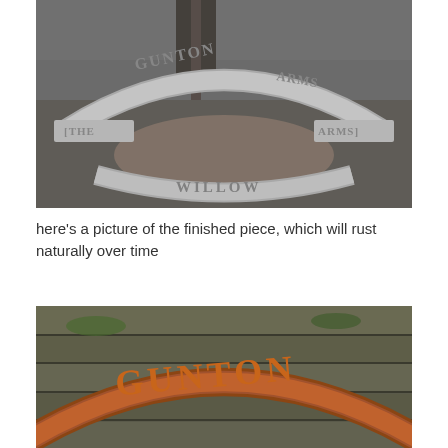[Figure (photo): Metal sign reading 'THE GUNTON ARMS' freshly cut, shown on a work surface covered in metal dust and debris. The sign has an arched top section and curved bottom lettering reading 'WILLOW'.]
here’s a picture of the finished piece, which will rust naturally over time
[Figure (photo): Close-up of the finished GUNTON metal sign now rusted to a warm brown/orange color, resting on weathered wooden planks with moss visible.]